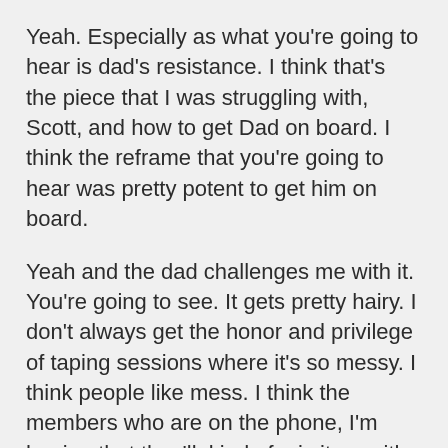Yeah. Especially as what you're going to hear is dad's resistance. I think that's the piece that I was struggling with, Scott, and how to get Dad on board. I think the reframe that you're going to hear was pretty potent to get him on board.
Yeah and the dad challenges me with it. You're going to see. It gets pretty hairy. I don't always get the honor and privilege of taping sessions where it's so messy. I think people like mess. I think the members who are on the phone, I'm hoping that they'll, kind of mix it up with me and be like, "Oh my gosh, what would I do if this happened?" So anyways, it should be a lot of fun today. So, let's get started here.
There is really seven reasons, I've come to